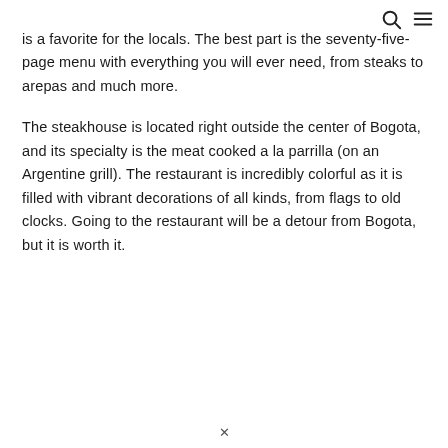[search icon] [menu icon]
is a favorite for the locals. The best part is the seventy-five-page menu with everything you will ever need, from steaks to arepas and much more.
The steakhouse is located right outside the center of Bogota, and its specialty is the meat cooked a la parrilla (on an Argentine grill). The restaurant is incredibly colorful as it is filled with vibrant decorations of all kinds, from flags to old clocks. Going to the restaurant will be a detour from Bogota, but it is worth it.